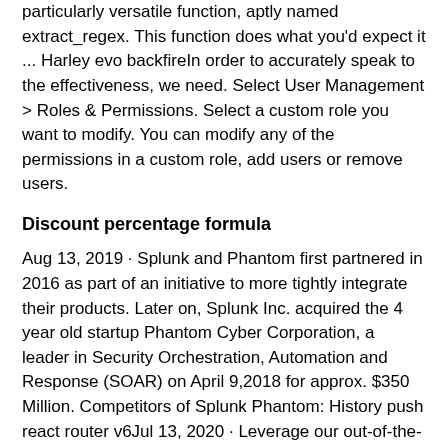particularly versatile function, aptly named extract_regex. This function does what you'd expect it ... Harley evo backfireIn order to accurately speak to the effectiveness, we need. Select User Management > Roles & Permissions. Select a custom role you want to modify. You can modify any of the permissions in a custom role, add users or remove users.
Discount percentage formula
Aug 13, 2019 · Splunk and Phantom first partnered in 2016 as part of an initiative to more tightly integrate their products. Later on, Splunk Inc. acquired the 4 year old startup Phantom Cyber Corporation, a leader in Security Orchestration, Automation and Response (SOAR) on April 9,2018 for approx. $350 Million. Competitors of Splunk Phantom: History push react router v6Jul 13, 2020 · Leverage our out-of-the-box library of custom functions for quick deployment, and easily reuse custom functions across multiple playbooks to maximize playbook versatility and automate additional security processes. Attend our upcoming webinar on custom functions, "Splunk Phantom: Put the Fun in Custom Functions," to learn more. Google timestamp converter. Vankirk funeral home obituariesTrumpet concerto listJewish tunicMobile homes for rent to buy near meHouses for sale lisnaskeaStep 3. Once you create the event stream it would display the API Client ID and API Key which is required on Splunk. Caution: This